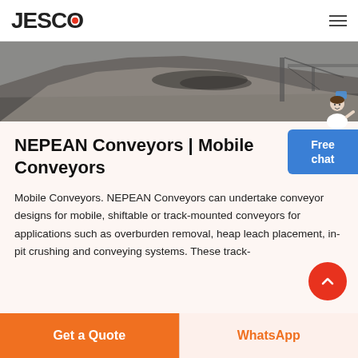JESCO
[Figure (photo): Hero image showing a pile of gravel/aggregate material with mining equipment in the background]
NEPEAN Conveyors | Mobile Conveyors
Mobile Conveyors. NEPEAN Conveyors can undertake conveyor designs for mobile, shiftable or track-mounted conveyors for applications such as overburden removal, heap leach placement, in-pit crushing and conveying systems. These track-